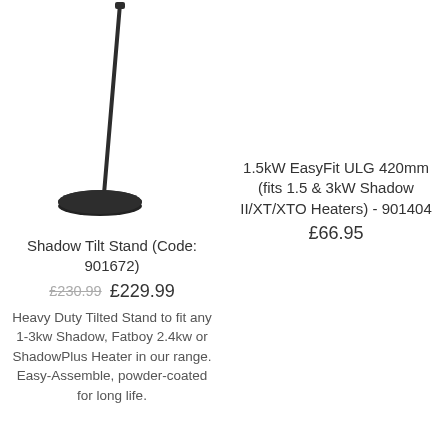[Figure (photo): Shadow Tilt Stand product photo showing a tall angled black metal stand with a round weighted base]
Shadow Tilt Stand (Code: 901672)
£230.99  £229.99
Heavy Duty Tilted Stand to fit any 1-3kw Shadow, Fatboy 2.4kw or ShadowPlus Heater in our range. Easy-Assemble, powder-coated for long life.
1.5kW EasyFit ULG 420mm (fits 1.5 & 3kW Shadow II/XT/XTO Heaters) - 901404
£66.95